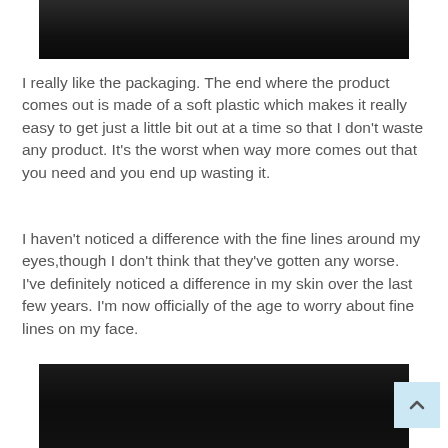[Figure (photo): Dark/black product photo at top of page]
I really like the packaging. The end where the product comes out is made of a soft plastic which makes it really easy to get just a little bit out at a time so that I don't waste any product. It's the worst when way more comes out that you need and you end up wasting it.
I haven't noticed a difference with the fine lines around my eyes,though I don't think that they've gotten any worse. I've definitely noticed a difference in my skin over the last few years. I'm now officially of the age to worry about fine lines on my face.
[Figure (photo): Dark/black product photo at bottom of page]